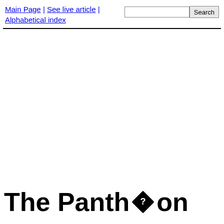Main Page | See live article | Alphabetical index [Search box]
The Pantheon